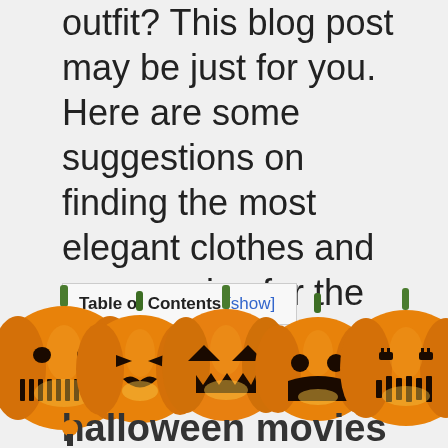outfit? This blog post may be just for you. Here are some suggestions on finding the most elegant clothes and accessories for the lowest price.
| Table of Contents [show] |
[Figure (illustration): Row of five carved halloween jack-o-lantern pumpkins with green stems and glowing yellow faces, partially overlapping text 'halloween movies' at the bottom]